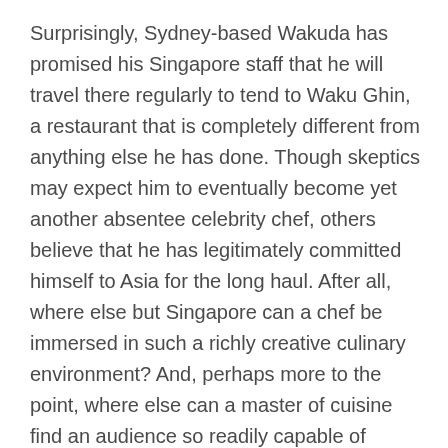Surprisingly, Sydney-based Wakuda has promised his Singapore staff that he will travel there regularly to tend to Waku Ghin, a restaurant that is completely different from anything else he has done. Though skeptics may expect him to eventually become yet another absentee celebrity chef, others believe that he has legitimately committed himself to Asia for the long haul. After all, where else but Singapore can a chef be immersed in such a richly creative culinary environment? And, perhaps more to the point, where else can a master of cuisine find an audience so readily capable of appreciating—and affording—such a refined level of edible art?